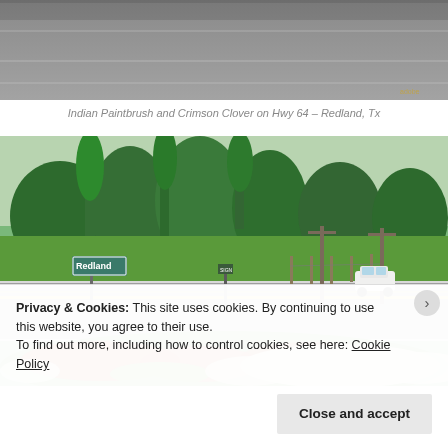[Figure (photo): Partial top view of a road with asphalt surface, cropped at top of page]
Indian Paintbrush and Crimson Clover on Hwy 64 – Redland, Tx
[Figure (photo): Roadside scene in Redland, TX showing a highway with a Redland city sign, trees in background, a white vehicle, and colorful wildflowers (red, white) along the roadside embankment]
Privacy & Cookies: This site uses cookies. By continuing to use this website, you agree to their use.
To find out more, including how to control cookies, see here: Cookie Policy